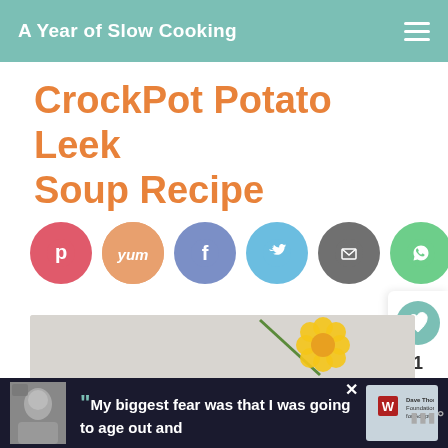A Year of Slow Cooking
CrockPot Potato Leek Soup Recipe
[Figure (infographic): Social share buttons row: Pinterest (red), Yummly (orange/yum), Facebook (blue-purple), Twitter (light blue), Email (grey), WhatsApp (green)]
[Figure (photo): Photo of potato leek soup in a decorative bowl with a yellow marigold flower on a grey background]
WHAT'S NEXT → CrockPot Sweet Potat...
[Figure (infographic): Advertisement banner: My biggest fear was that I was going to age out and - Dave Thomas Foundation for Adoption]